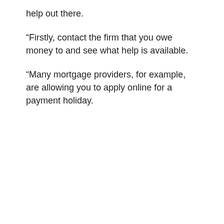help out there.
“Firstly, contact the firm that you owe money to and see what help is available.
“Many mortgage providers, for example, are allowing you to apply online for a payment holiday.